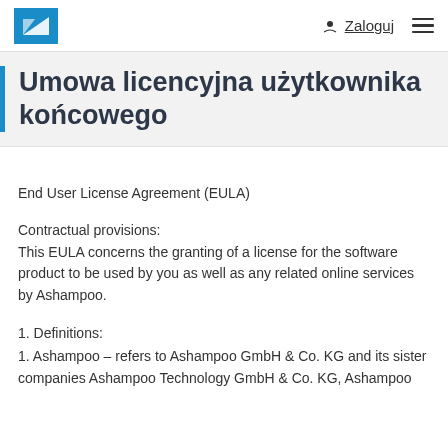Zaloguj
Umowa licencyjna użytkownika końcowego
End User License Agreement (EULA)
Contractual provisions:
This EULA concerns the granting of a license for the software product to be used by you as well as any related online services by Ashampoo.
1. Definitions:
1. Ashampoo – refers to Ashampoo GmbH & Co. KG and its sister companies Ashampoo Technology GmbH & Co. KG, Ashampoo